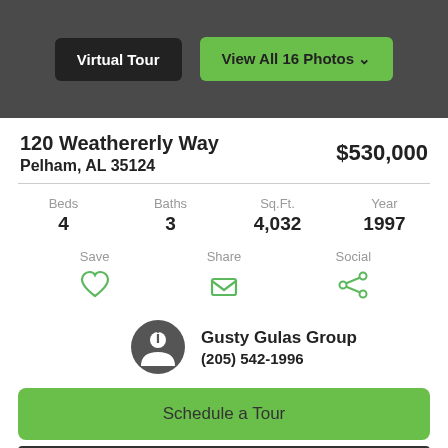[Figure (screenshot): Dark gray header bar with two buttons: 'Virtual Tour' (dark/black button) and 'View All 16 Photos' with chevron (green button)]
120 Weathererly Way
Pelham, AL 35124
$530,000
| Beds | Baths | Sq.Ft. | Year |
| --- | --- | --- | --- |
| 4 | 3 | 4,032 | 1997 |
Save  Share  Social
Gusty Gulas Group
(205) 542-1996
Schedule a Tour